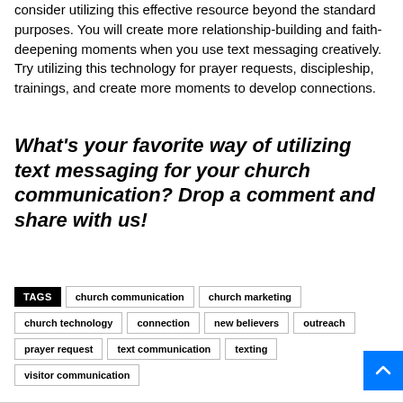consider utilizing this effective resource beyond the standard purposes. You will create more relationship-building and faith-deepening moments when you use text messaging creatively. Try utilizing this technology for prayer requests, discipleship, trainings, and create more moments to develop connections.
What's your favorite way of utilizing text messaging for your church communication? Drop a comment and share with us!
TAGS: church communication, church marketing, church technology, connection, new believers, outreach, prayer request, text communication, texting, visitor communication